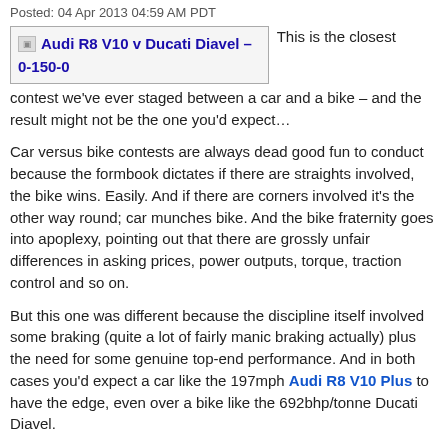Posted: 04 Apr 2013 04:59 AM PDT
Audi R8 V10 v Ducati Diavel – 0-150-0  This is the closest contest we've ever staged between a car and a bike – and the result might not be the one you'd expect…
Car versus bike contests are always dead good fun to conduct because the formbook dictates if there are straights involved, the bike wins. Easily. And if there are corners involved it's the other way round; car munches bike. And the bike fraternity goes into apoplexy, pointing out that there are grossly unfair differences in asking prices, power outputs, torque, traction control and so on.
But this one was different because the discipline itself involved some braking (quite a lot of fairly manic braking actually) plus the need for some genuine top-end performance. And in both cases you'd expect a car like the 197mph Audi R8 V10 Plus to have the edge, even over a bike like the 692bhp/tonne Ducati Diavel.
Watch the video: Audi R8 V10 v Ducati Diavel – 0-150-0mph
Even so, both car and bike rider genuinely expected the Audi to get whipped in a side-by-side 0-150-0mph test. And when Superbike's road test editor, Chris Northover, and I did the first few practice runs without a stop to review it and the data it…